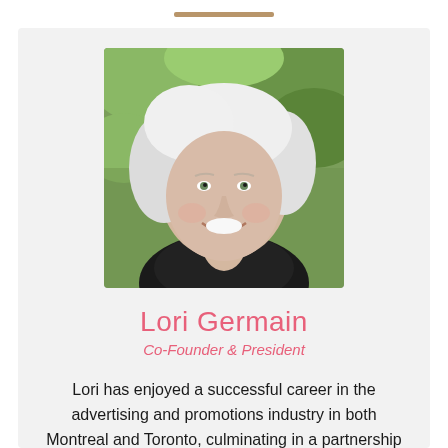[Figure (photo): Portrait photo of Lori Germain, a woman with white/silver shoulder-length hair, smiling, wearing a dark top, photographed outdoors with green foliage in the background.]
Lori Germain
Co-Founder & President
Lori has enjoyed a successful career in the advertising and promotions industry in both Montreal and Toronto, culminating in a partnership